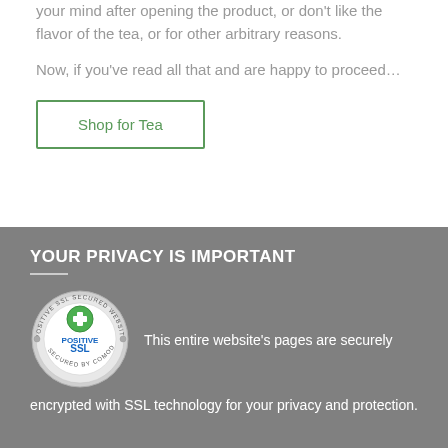your mind after opening the product, or don't like the flavor of the tea, or for other arbitrary reasons.
Now, if you've read all that and are happy to proceed…
Shop for Tea
YOUR PRIVACY IS IMPORTANT
[Figure (logo): Positive SSL Secured Website badge — circular metallic seal with green plus icon and 'POSITIVE SSL' text, secured by Comodo]
This entire website's pages are securely encrypted with SSL technology for your privacy and protection.